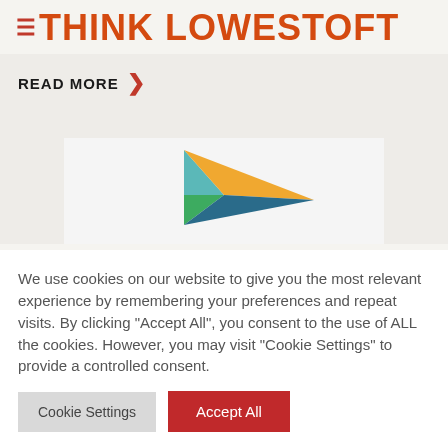≡ THINK LOWESTOFT
READ MORE ›
[Figure (logo): Geometric paper-plane / arrow logo made of coloured triangles: teal, orange, green, dark teal/blue]
We use cookies on our website to give you the most relevant experience by remembering your preferences and repeat visits. By clicking "Accept All", you consent to the use of ALL the cookies. However, you may visit "Cookie Settings" to provide a controlled consent.
Cookie Settings   Accept All